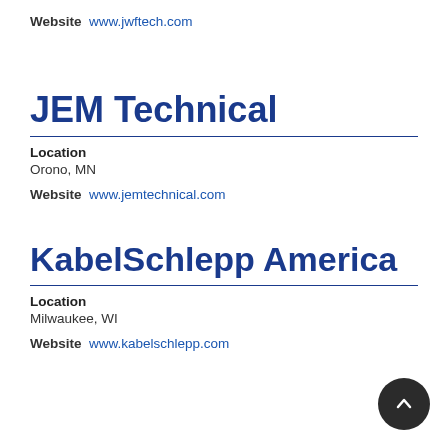Website  www.jwftech.com
JEM Technical
Location
Orono, MN
Website  www.jemtechnical.com
KabelSchlepp America
Location
Milwaukee, WI
Website  www.kabelschlepp.com